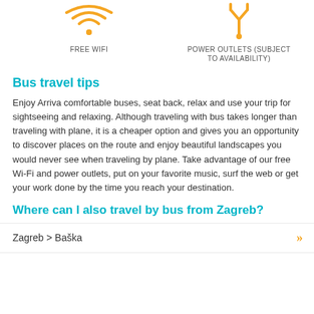[Figure (illustration): WiFi icon (orange/yellow) above label FREE WIFI]
[Figure (illustration): Power outlet / USB icon (orange/yellow) above label POWER OUTLETS (SUBJECT TO AVAILABILITY)]
Bus travel tips
Enjoy Arriva comfortable buses, seat back, relax and use your trip for sightseeing and relaxing. Although traveling with bus takes longer than traveling with plane, it is a cheaper option and gives you an opportunity to discover places on the route and enjoy beautiful landscapes you would never see when traveling by plane. Take advantage of our free Wi-Fi and power outlets, put on your favorite music, surf the web or get your work done by the time you reach your destination.
Where can I also travel by bus from Zagreb?
Zagreb > Baška